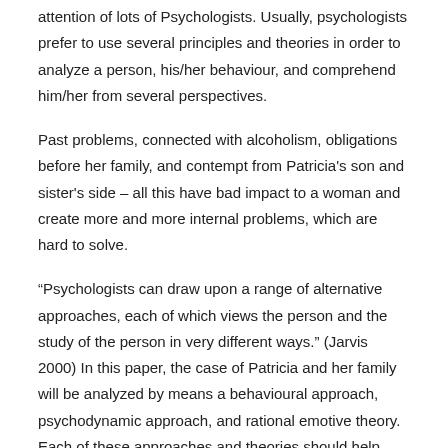attention of lots of Psychologists. Usually, psychologists prefer to use several principles and theories in order to analyze a person, his/her behaviour, and comprehend him/her from several perspectives.
Past problems, connected with alcoholism, obligations before her family, and contempt from Patricia's son and sister's side – all this have bad impact to a woman and create more and more internal problems, which are hard to solve.
“Psychologists can draw upon a range of alternative approaches, each of which views the person and the study of the person in very different ways.” (Jarvis 2000) In this paper, the case of Patricia and her family will be analyzed by means a behavioural approach, psychodynamic approach, and rational emotive theory. Each of these approaches and theories should help Patricia re-evaluate the situation and come to the conclusion what to do further.